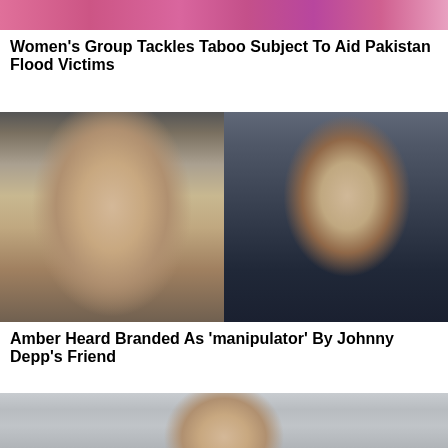[Figure (photo): Top portion of a colorful floral/pink image at the top of the page]
Women's Group Tackles Taboo Subject To Aid Pakistan Flood Victims
[Figure (photo): Split photo showing Amber Heard on the left (blonde woman) and Johnny Depp on the right (man with sunglasses and polka dot scarf)]
Amber Heard Branded As 'manipulator' By Johnny Depp's Friend
[Figure (photo): Partial bottom image showing top of a person's head, cropped at page bottom]